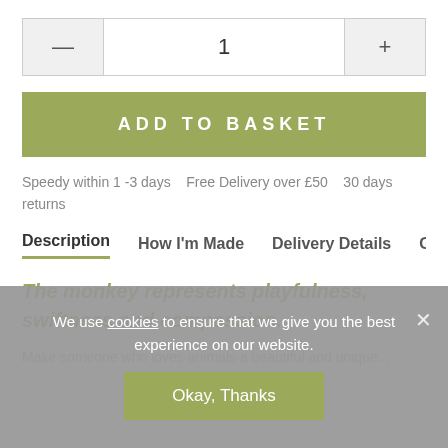[Figure (other): Quantity selector with minus button, value '1', and plus button]
[Figure (other): Add to Basket button (olive green background, white text)]
Speedy within 1 -3 days   Free Delivery over £50   30 days returns
Description   How I'm Made   Delivery Details   Gift
The monkey represents playfulness, swiftness and compassion.
We use cookies to ensure that we give you the best experience on our website.
[Figure (other): Okay, Thanks button (olive green)]